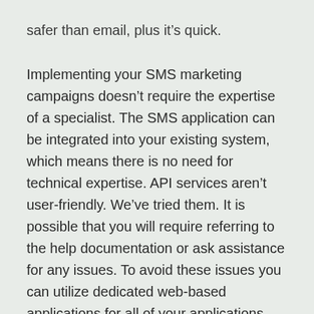safer than email, plus it's quick.
Implementing your SMS marketing campaigns doesn't require the expertise of a specialist. The SMS application can be integrated into your existing system, which means there is no need for technical expertise. API services aren't user-friendly. We've tried them. It is possible that you will require referring to the help documentation or ask assistance for any issues. To avoid these issues you can utilize dedicated web-based applications for all of your applications. They're the best way to market your business. You don't have the time or money to waste on features that aren't necessary.
SMS offers many other benefits apart from being a cheap solution. SMS is a reliable communication channel that is compatible with the use of APIs. Some...